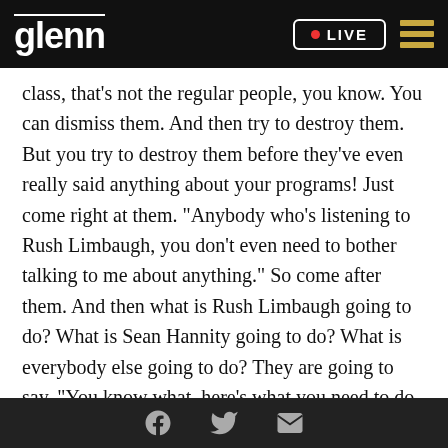glenn • LIVE
class, that's not the regular people, you know. You can dismiss them. And then try to destroy them. But you try to destroy them before they've even really said anything about your programs! Just come right at them. "Anybody who's listening to Rush Limbaugh, you don't even need to bother talking to me about anything." So come after them. And then what is Rush Limbaugh going to do? What is Sean Hannity going to do? What is everybody else going to do? They are going to say, "You know what, here's what you need to do. You need to call your senator today. You need to speak up about this and